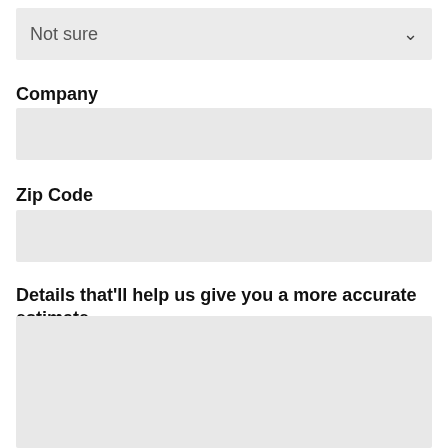[Figure (screenshot): Dropdown field showing 'Not sure' with a down arrow on the right]
Company
[Figure (screenshot): Empty text input field for Company]
Zip Code
[Figure (screenshot): Empty text input field for Zip Code]
Details that'll help us give you a more accurate estimate.
[Figure (screenshot): Large empty textarea for details]